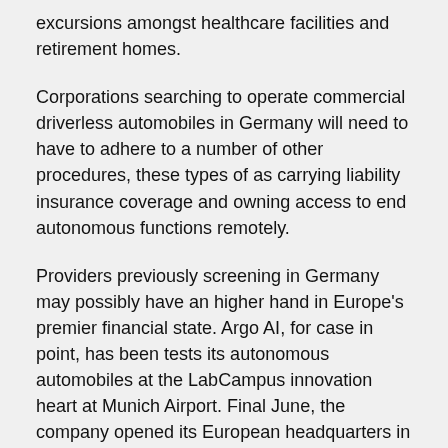excursions amongst healthcare facilities and retirement homes.
Corporations searching to operate commercial driverless automobiles in Germany will need to have to adhere to a number of other procedures, these types of as carrying liability insurance coverage and owning access to end autonomous functions remotely.
Providers previously screening in Germany may possibly have an higher hand in Europe's premier financial state. Argo AI, for case in point, has been tests its autonomous automobiles at the LabCampus innovation heart at Munich Airport. Final June, the company opened its European headquarters in the Bavarian city, and this summer time it will open its take a look at web-site in partnership with Volkswagen to check the VW ID.Excitement electric vans. Intel-subsidiary Mobileye also has a footprint screening AVs in Germany.
Numerous U.S. states and nations around the world have polices all over screening and likely professional deployment. Previous 7 days, Chinese robotaxi startup Pony.ai turned the eighth enterprise to be granted a permit to exam driverless vehicles in California, and Nuro is the only firm with a deployment allow to operate commercially on public streets in the condition. In China, organizations like Alibaba-backed AutoX are also tests driverless fleets on community streets. Germany's legislation is a phase over and above testing in the direction of integration into normal